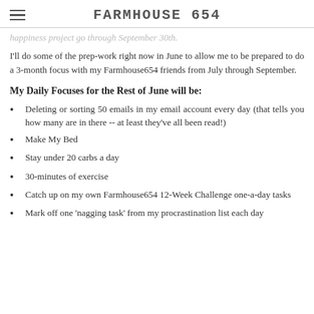FARMHOUSE 654
happiness project go through September 30th.
I'll do some of the prep-work right now in June to allow me to be prepared to do a 3-month focus with my Farmhouse654 friends from July through September.
My Daily Focuses for the Rest of June will be:
Deleting or sorting 50 emails in my email account every day (that tells you how many are in there -- at least they've all been read!)
Make My Bed
Stay under 20 carbs a day
30-minutes of exercise
Catch up on my own Farmhouse654 12-Week Challenge one-a-day tasks
Mark off one 'nagging task' from my procrastination list each day